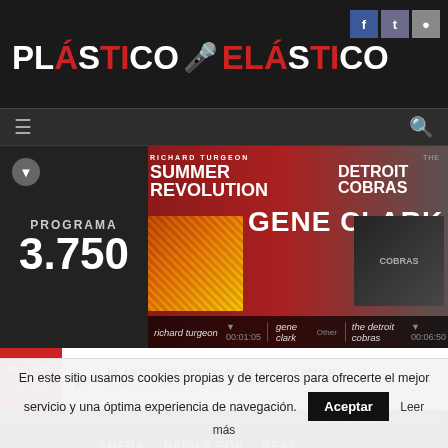[Figure (logo): Plástico Elástico logo with microphone icon, stylized text in white and red]
[Figure (screenshot): Social media icons: Facebook, Twitter, Instagram]
[Figure (screenshot): Navigation bar with hamburger menu and search icon]
[Figure (screenshot): Carousel showing PROGRAMA 3.750, Gene Clark, Richard Turgeon Summer Revolution, The Detroit Cobras album covers with timestamps 00:01:05 and 00:06:50]
[Figure (screenshot): Audio player bar: PLÁSTICO ELÁSTICO Noviembre 13 2019 Nº - ... by Pacopepe Gil, with play button and follow/download controls]
[Figure (screenshot): Waveform audio visualization bar]
ETIQUETAS _ AMEBA BASH & POP BEAT
COASTAL CLOUDS _ COUNTRY ALTERNATIVO
En este sitio usamos cookies propias y de terceros para ofrecerte el mejor servicio y una óptima experiencia de navegación.
Aceptar   Leer más